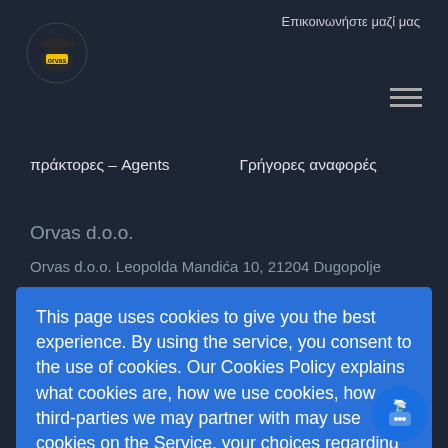Επικοινωνήστε μαζί μας
πράκτορες – Agents   Γρήγορες αναφορές
Orvas d.o.o.
Orvas d.o.o. Leopolda Mandića 10, 21204 Dugopolje
This page uses cookies to give you the best experience. By using the service, you consent to the use of cookies. Our Cookies Policy explains what cookies are, how we use cookies, how third-parties we may partner with may use cookies on the Service, your choices regarding cookies and further information about cookies.   OK
Read cookie info